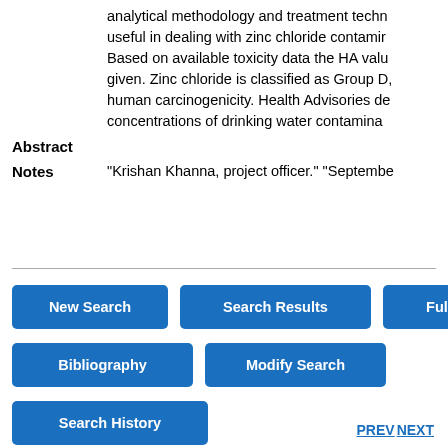analytical methodology and treatment technology useful in dealing with zinc chloride contamination. Based on available toxicity data the HA value is given. Zinc chloride is classified as Group D, human carcinogenicity. Health Advisories describe concentrations of drinking water contaminants...
Abstract
Notes
"Krishan Khanna, project officer." "September..."
New Search
Search Results
Full Record
Bibliography
Modify Search
Search History
PREV NEXT